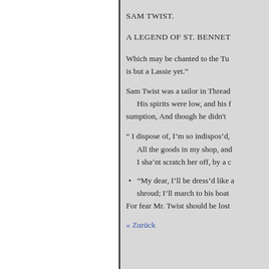SAM TWIST.
A LEGEND OF ST. BENNET
Which may be chanted to the Tu
is but a Lassie yet."
Sam Twist was a tailor in Thread
His spirits were low, and his f
sumption, And though he didn't
" I dispose of, I'm so indispos'd,
All the goods in my shop, and
I sha'nt scratch her off, by a c
“My dear, I'll be dress'd like a
shroud; I'll march to his boat
For fear Mr. Twist should be lost
« Zurück